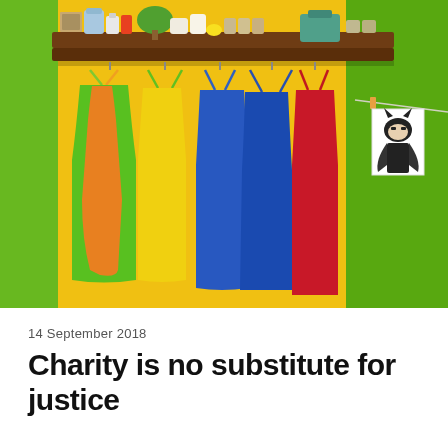[Figure (photo): Photo of colorful aprons (green, orange, yellow, blue, red) hanging on hooks beneath a wooden shelf mounted on a bright yellow wall. The shelf holds various bottles, cans, a plant, and jars. A child's drawing hangs on a clothesline in the upper right corner. Green wall visible on left and right edges.]
14 September 2018
Charity is no substitute for justice